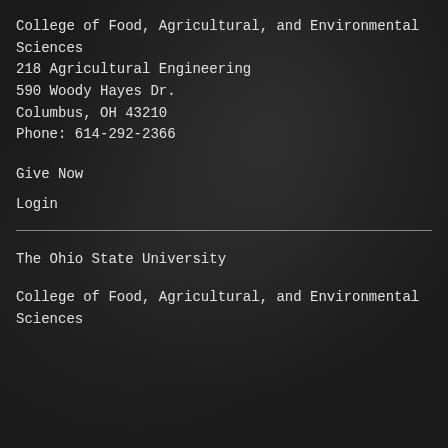College of Food, Agricultural, and Environmental Sciences
218 Agricultural Engineering
590 Woody Hayes Dr.
Columbus, OH 43210
Phone: 614-292-2366
Give Now
Login
The Ohio State University
College of Food, Agricultural, and Environmental Sciences